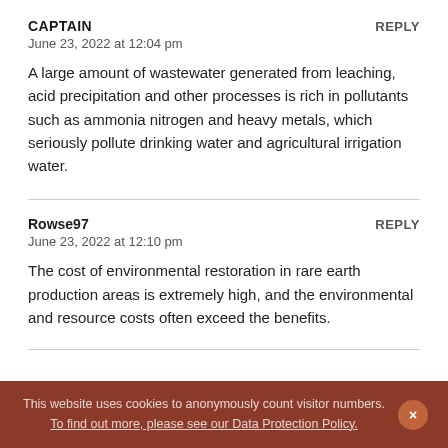CAPTAIN
June 23, 2022 at 12:04 pm
A large amount of wastewater generated from leaching, acid precipitation and other processes is rich in pollutants such as ammonia nitrogen and heavy metals, which seriously pollute drinking water and agricultural irrigation water.
Rowse97
June 23, 2022 at 12:10 pm
The cost of environmental restoration in rare earth production areas is extremely high, and the environmental and resource costs often exceed the benefits.
This website uses cookies to anonymously count visitor numbers. To find out more, please see our Data Protection Policy.